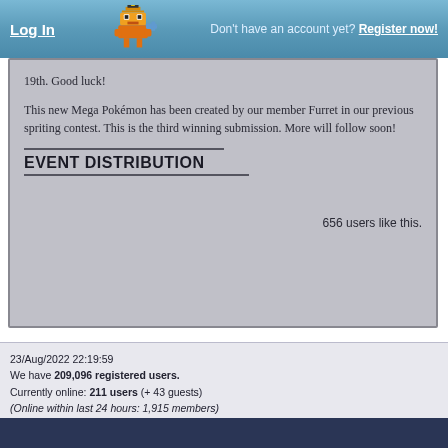Log In    Don't have an account yet? Register now!
19th. Good luck!
This new Mega Pokémon has been created by our member Furret in our previous spriting contest. This is the third winning submission. More will follow soon!
EVENT DISTRIBUTION
656 users like this.
23/Aug/2022 22:19:59
We have 209,096 registered users.
Currently online: 211 users (+ 43 guests)
(Online within last 24 hours: 1,915 members)
Page generated in 5.5 milliseconds
Pokémon names and sprites © 1995-2022 Nintendo, The Pokémon Company and Gamefreak
This Website is © by Riako, 2013-2022
Contact us  Site Rules  Privacy Policy